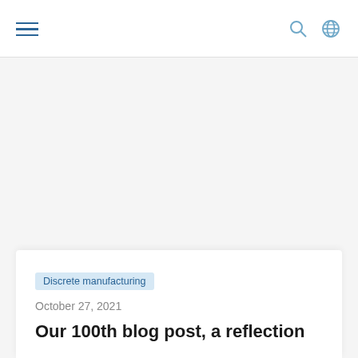Navigation header with hamburger menu, search icon, and globe icon
[Figure (other): Large white/light grey blank image area below the navigation header]
Discrete manufacturing
October 27, 2021
Our 100th blog post, a reflection